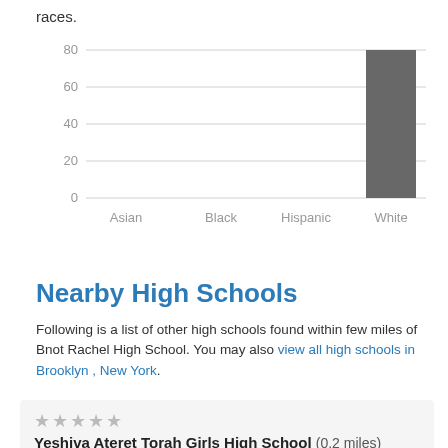races.
[Figure (bar-chart): ]
Nearby High Schools
Following is a list of other high schools found within few miles of Bnot Rachel High School. You may also view all high schools in Brooklyn , New York.
Yeshiva Ateret Torah Girls High School (0.2 miles)